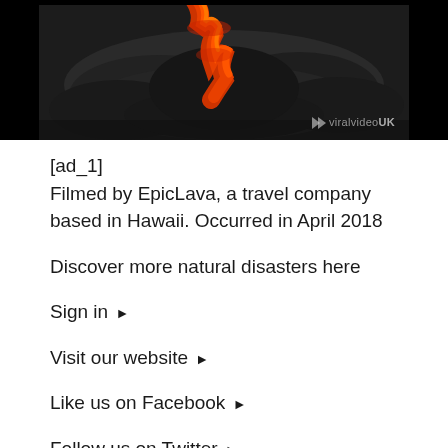[Figure (photo): Lava flow photograph with viralvideoUK watermark and logo, dark rocky volcanic landscape with orange-red lava visible, black background borders]
[ad_1]
Filmed by EpicLava, a travel company based in Hawaii. Occurred in April 2018
Discover more natural disasters here
Sign in ▶
Visit our website ▶
Like us on Facebook ▶
Follow us on Twitter ▶
For licenses, please contact info@viralvideouk.com